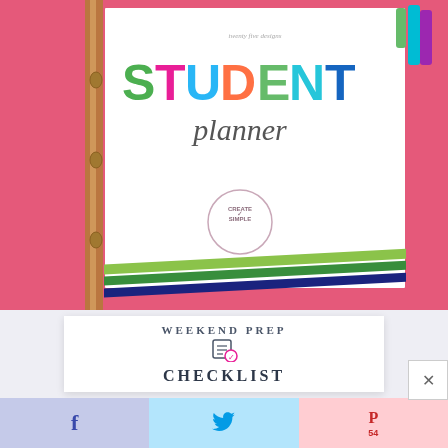[Figure (photo): Student planner binder cover with colorful STUDENT text and 'planner' in script, photographed on pink background with pencil/binder spine on left, Create Simple stamp logo, and colorful diagonal stripes at bottom]
[Figure (photo): Partial preview of Weekend Prep Checklist card with checklist icon, white card on light gray background]
WEEKEND PREP
CHECKLIST
[Figure (infographic): Social share bar with Facebook (f), Twitter (bird), and Pinterest (P 54) buttons in blue, light blue, and pink respectively. Close (x) button overlaid on right side.]